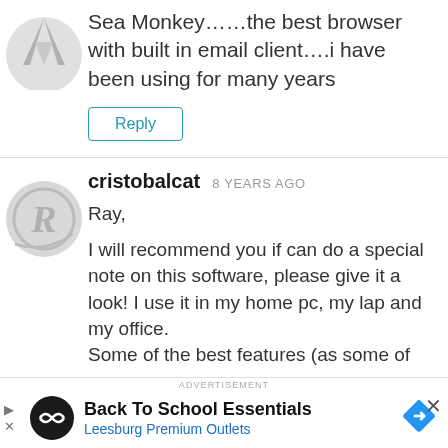Sea Monkey……the best browser with built in email client….i have been using for many years
Reply
cristobalcat  8 YEARS AGO
Ray,

I will recommend you if can do a special note on this software, please give it a look! I use it in my home pc, my lap and my office.
Some of the best features (as some of your recommended also have, but
ADVERTISEMENT
Back To School Essentials
Leesburg Premium Outlets